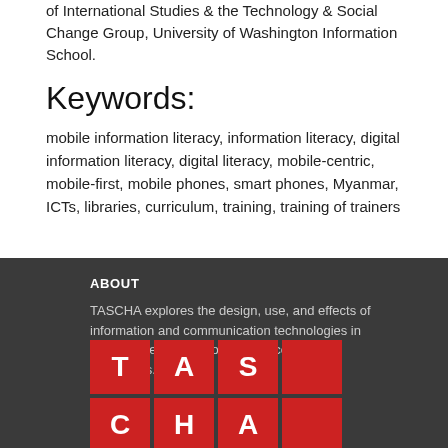of International Studies & the Technology & Social Change Group, University of Washington Information School.
Keywords:
mobile information literacy, information literacy, digital information literacy, digital literacy, mobile-centric, mobile-first, mobile phones, smart phones, Myanmar, ICTs, libraries, curriculum, training, training of trainers
ABOUT
TASCHA explores the design, use, and effects of information and communication technologies in communities facing social and economic challenges. More »
[Figure (logo): TASCHA logo: 2x4 grid of red squares each containing a white letter spelling T-A-S-C-H-A]